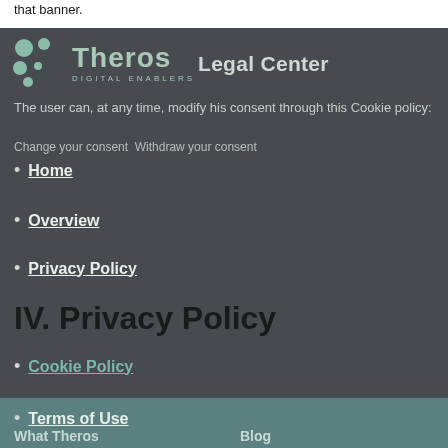that banner.
[Figure (logo): Theros Digital Enablers logo with dot pattern and Legal Center text]
The user can, at any time, modify his consent through this Cookie policy:
Change your consent  Withdraw your consent
Home
Overview
Privacy Policy
IV. Privacy Policy
Cookie Policy
Terms of Use
For more information on personal data protection, please read our Privacy Policy.
[Figure (photo): Teal/green decorative footer banner at the bottom]